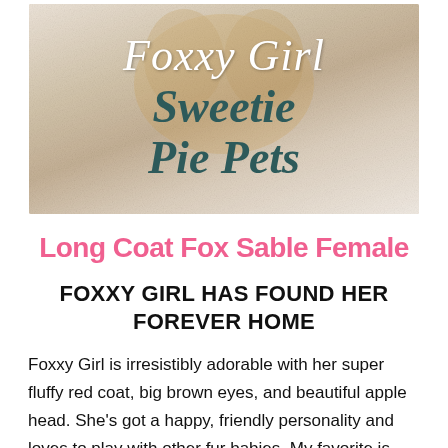[Figure (photo): Banner image showing a fluffy dog with text overlaid: 'Foxxy Girl' in white italic script and 'Sweetie Pie Pets' in dark teal bold italic script, on a soft white/cream fur background.]
Long Coat Fox Sable Female
FOXXY GIRL HAS FOUND HER FOREVER HOME
Foxxy Girl is irresistibly adorable with her super fluffy red coat, big brown eyes, and beautiful apple head. She's got a happy, friendly personality and loves to play with other fur babies. My favorite is when she hops around like a teeny, tiny